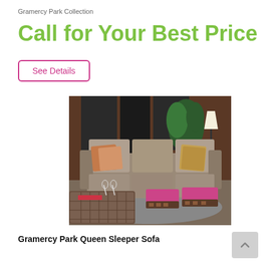Gramercy Park Collection
Call for Your Best Price
See Details
[Figure (photo): A living room scene featuring a large brown upholstered queen sleeper sofa with patterned throw pillows, two fuchsia/pink ottomans in front, a woven coffee table with wine glasses, and indoor plants and lamps in the background.]
Gramercy Park Queen Sleeper Sofa